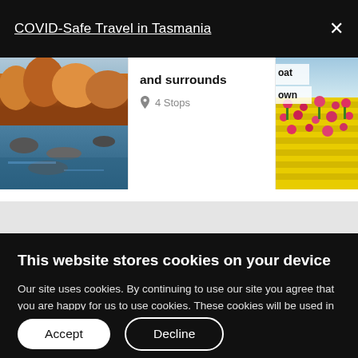COVID-Safe Travel in Tasmania
[Figure (screenshot): Website screenshot showing travel cards: a landscape photo on the left, a card with text 'and surrounds' and '4 Stops' in the center, and a tulip field photo on the right with partial text 'oat' and 'own'.]
This website stores cookies on your device
Our site uses cookies. By continuing to use our site you agree that you are happy for us to use cookies. These cookies will be used in accordance with our privacy policy.